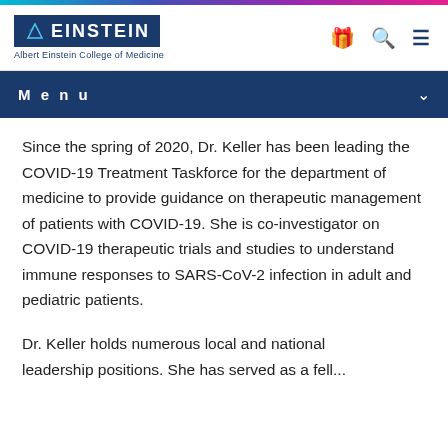[Figure (logo): Albert Einstein College of Medicine logo with blue background and stylized bird]
Menu
Since the spring of 2020, Dr. Keller has been leading the COVID-19 Treatment Taskforce for the department of medicine to provide guidance on therapeutic management of patients with COVID-19. She is co-investigator on COVID-19 therapeutic trials and studies to understand immune responses to SARS-CoV-2 infection in adult and pediatric patients.
Dr. Keller holds numerous local and national leadership positions. She has served as a fellow...